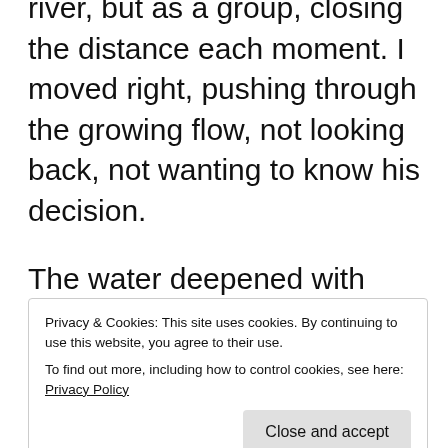river, but as a group, closing the distance each moment. I moved right, pushing through the growing flow, not looking back, not wanting to know his decision.
The water deepened with every step, but still I didn't look around, didn't want to see the creatures following me on the bank,
Privacy & Cookies: This site uses cookies. By continuing to use this website, you agree to their use. To find out more, including how to control cookies, see here: Privacy Policy
followed by those without dexterity, the